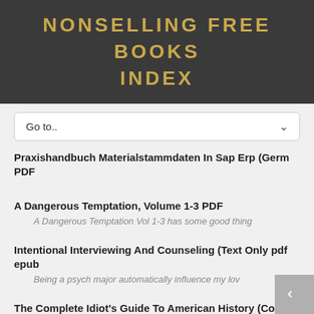NONSELLING FREE BOOKS INDEX
Go to..
Praxishandbuch Materialstammdaten In Sap Erp (Germ PDF
A Dangerous Temptation, Volume 1-3 PDF
A Dangerous Temptation Vol 1-3 has some good thing
Intentional Interviewing And Counseling (Text Only pdf epub
Being a psych major automatically influence my lov
The Complete Idiot's Guide To American History (Co pdf
History as an interesting read with the essential